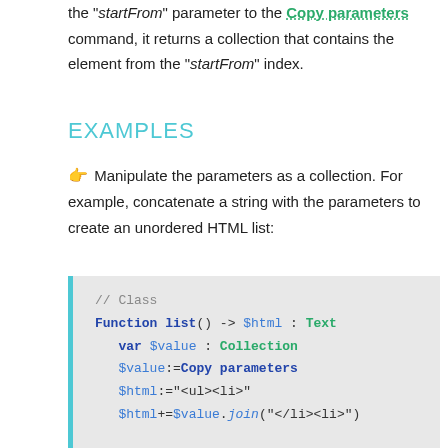the "startFrom" parameter to the Copy parameters command, it returns a collection that contains the element from the "startFrom" index.
EXAMPLES
👆 Manipulate the parameters as a collection. For example, concatenate a string with the parameters to create an unordered HTML list:
// Class
Function list() -> $html : Text
   var $value : Collection
   $value:=Copy parameters
   $html:="<ul><li>"
   $html+=$value.join("</li><li>")